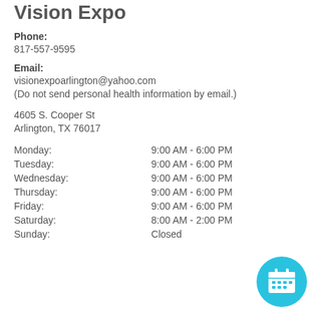Vision Expo
Phone:
817-557-9595
Email:
visionexpoarlington@yahoo.com
(Do not send personal health information by email.)
4605 S. Cooper St
Arlington, TX 76017
| Day | Hours |
| --- | --- |
| Monday: | 9:00 AM - 6:00 PM |
| Tuesday: | 9:00 AM - 6:00 PM |
| Wednesday: | 9:00 AM - 6:00 PM |
| Thursday: | 9:00 AM - 6:00 PM |
| Friday: | 9:00 AM - 6:00 PM |
| Saturday: | 8:00 AM - 2:00 PM |
| Sunday: | Closed |
[Figure (illustration): Cyan circular calendar/appointment button icon in the bottom right corner]